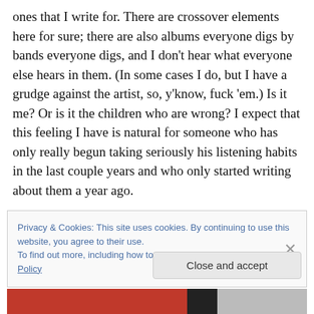ones that I write for. There are crossover elements here for sure; there are also albums everyone digs by bands everyone digs, and I don't hear what everyone else hears in them. (In some cases I do, but I have a grudge against the artist, so, y'know, fuck 'em.) Is it me? Or is it the children who are wrong? I expect that this feeling I have is natural for someone who has only really begun taking seriously his listening habits in the last couple years and who only started writing about them a year ago.
That said, my #1 is clearly rooted in the relationship I have
Privacy & Cookies: This site uses cookies. By continuing to use this website, you agree to their use.
To find out more, including how to control cookies, see here: Cookie Policy